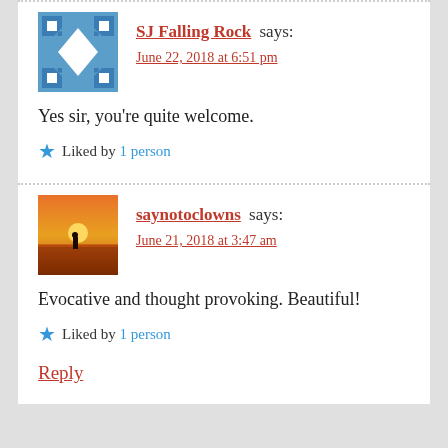SJ Falling Rock says:
June 22, 2018 at 6:51 pm
Yes sir, you’re quite welcome.
Liked by 1 person
saynotoclowns says:
June 21, 2018 at 3:47 am
Evocative and thought provoking. Beautiful!
Liked by 1 person
Reply